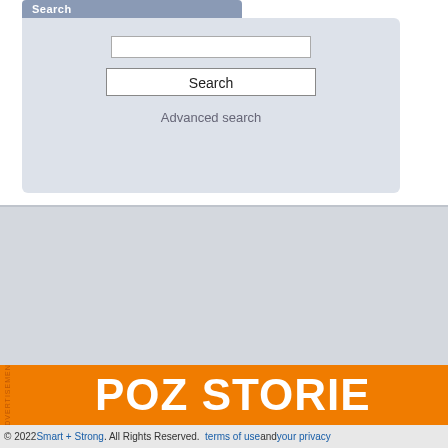Search
[Figure (screenshot): Search panel with text input field, Search button, and Advanced search link]
Advanced search
SMF 2.0.15
Terms of Membership for these forums
[Figure (infographic): Orange advertisement banner with text POZ STORIES and ADVERTISEMENT label on left side]
© 2022 Smart + Strong. All Rights Reserved.   terms of use and your privacy Smart + Strong® is a registered trademark of CDM Publishing, LLC